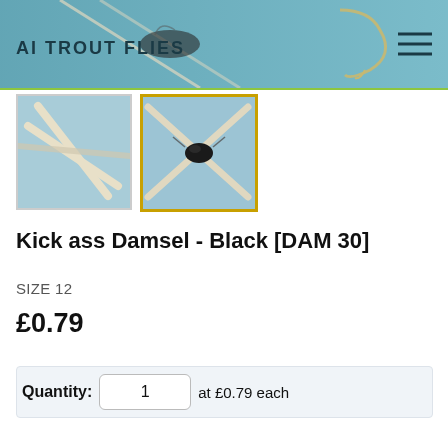AI TROUT FLIES
[Figure (photo): Two thumbnail photos of fly fishing lures/flies on blue background. Left thumbnail shows crossed stems/wires. Right thumbnail (selected with gold border) shows a black fly tied at crossing point of stems.]
Kick ass Damsel - Black [DAM 30]
SIZE 12
£0.79
Quantity:  1  at  £0.79  each